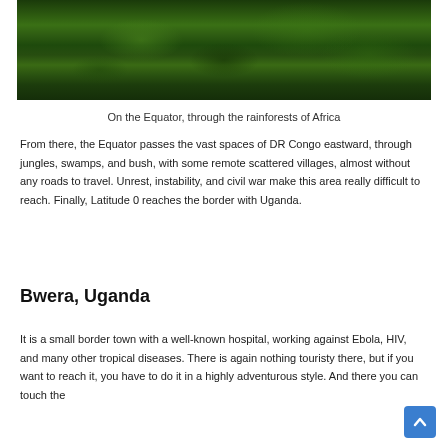[Figure (photo): Aerial or ground-level view of dense tropical rainforest canopy with lush green trees, taken on or near the Equator in Africa]
On the Equator, through the rainforests of Africa
From there, the Equator passes the vast spaces of DR Congo eastward, through jungles, swamps, and bush, with some remote scattered villages, almost without any roads to travel. Unrest, instability, and civil war make this area really difficult to reach. Finally, Latitude 0 reaches the border with Uganda.
Bwera, Uganda
It is a small border town with a well-known hospital, working against Ebola, HIV, and many other tropical diseases. There is again nothing touristy there, but if you want to reach it, you have to do it in a highly adventurous style. And there you can touch the